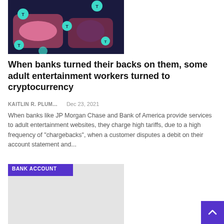[Figure (illustration): Colorful illustration showing two figures lying/sitting on dark blue background with teal circular tokens/coins, pink and mauve tones, cryptocurrency themed artwork]
When banks turned their backs on them, some adult entertainment workers turned to cryptocurrency
KAITLIN R. PLUM...    Dec 23, 2021
When banks like JP Morgan Chase and Bank of America provide services to adult entertainment websites, they charge high tariffs, due to a high frequency of "chargebacks", when a customer disputes a debit on their account statement and...
[Figure (photo): Second article thumbnail image with BANK ACCOUNT tag label, light gray placeholder image]
BANK ACCOUNT